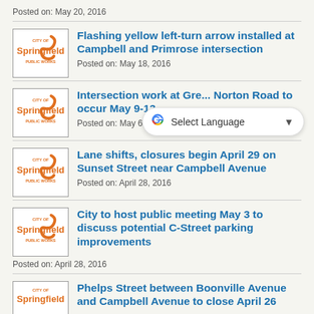Posted on: May 20, 2016
[Figure (logo): City of Springfield Public Works logo]
Flashing yellow left-turn arrow installed at Campbell and Primrose intersection
Posted on: May 18, 2016
[Figure (logo): City of Springfield Public Works logo]
Intersection work at Gre... Norton Road to occur May 9-13
Posted on: May 6, 2016
[Figure (logo): City of Springfield Public Works logo]
Lane shifts, closures begin April 29 on Sunset Street near Campbell Avenue
Posted on: April 28, 2016
[Figure (logo): City of Springfield Public Works logo]
City to host public meeting May 3 to discuss potential C-Street parking improvements
Posted on: April 28, 2016
[Figure (logo): City of Springfield Public Works logo]
Phelps Street between Boonville Avenue and Campbell Avenue to close April 26